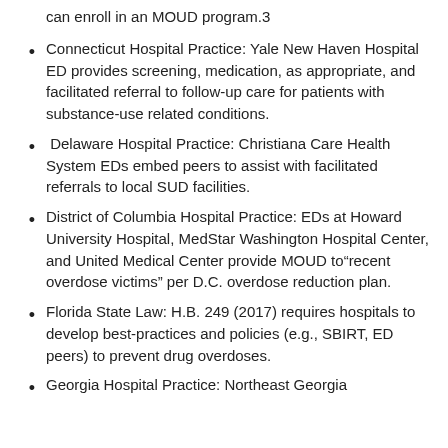can enroll in an MOUD program.3
Connecticut Hospital Practice: Yale New Haven Hospital ED provides screening, medication, as appropriate, and facilitated referral to follow-up care for patients with substance-use related conditions.
Delaware Hospital Practice: Christiana Care Health System EDs embed peers to assist with facilitated referrals to local SUD facilities.
District of Columbia Hospital Practice: EDs at Howard University Hospital, MedStar Washington Hospital Center, and United Medical Center provide MOUD to“recent overdose victims” per D.C. overdose reduction plan.
Florida State Law: H.B. 249 (2017) requires hospitals to develop best-practices and policies (e.g., SBIRT, ED peers) to prevent drug overdoses.
Georgia Hospital Practice: Northeast Georgia